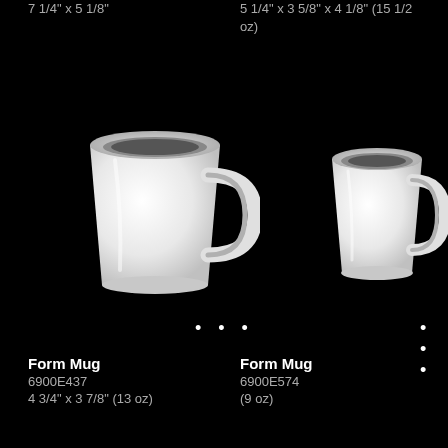7 1/4" x 5 1/8"
5 1/4" x 3 5/8" x 4 1/8" (15 1/2 oz)
[Figure (photo): White ceramic Form Mug, larger size, viewed from slight angle showing handle on right side]
• • •
[Figure (photo): White ceramic Form Mug, smaller size, viewed from slight angle showing handle on right side]
• • •
Form Mug
6900E437
4 3/4" x 3 7/8" (13 oz)
Form Mug
6900E574
(9 oz)